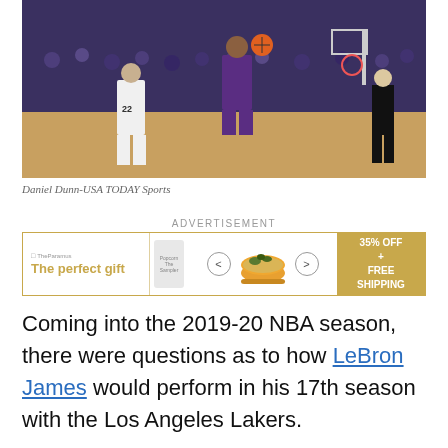[Figure (photo): Basketball game photo showing Lakers player in purple jersey jumping with ball, Spurs player #22 defending, referee on right side, crowd in background]
Daniel Dunn-USA TODAY Sports
ADVERTISEMENT
[Figure (infographic): Advertisement banner with gold border. Shows 'The perfect gift' tagline in gold, product canister image, navigation arrows, bowl of food, and gold box with '35% OFF + FREE SHIPPING']
Coming into the 2019-20 NBA season, there were questions as to how LeBron James would perform in his 17th season with the Los Angeles Lakers.
James had arguably the worst season of his career